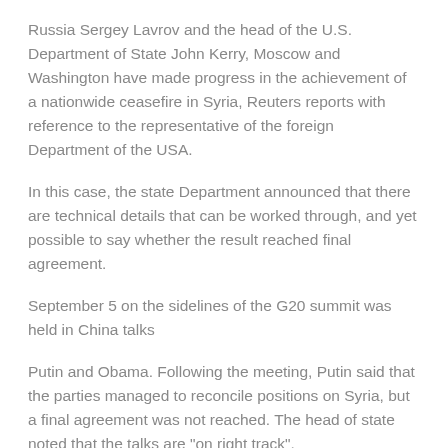Russia Sergey Lavrov and the head of the U.S. Department of State John Kerry, Moscow and Washington have made progress in the achievement of a nationwide ceasefire in Syria, Reuters reports with reference to the representative of the foreign Department of the USA.
In this case, the state Department announced that there are technical details that can be worked through, and yet possible to say whether the result reached final agreement.
September 5 on the sidelines of the G20 summit was held in China talks
Putin and Obama. Following the meeting, Putin said that the parties managed to reconcile positions on Syria, but a final agreement was not reached. The head of state noted that the talks are "on right track".
Earlier Thursday, the Washington Post reported that at the